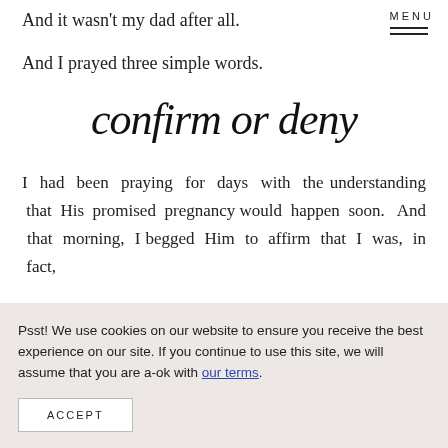And it wasn't my dad after all.
And I prayed three simple words.
confirm or deny
I had been praying for days with the understanding that His promised pregnancy would happen soon. And that morning, I begged Him to affirm that I was, in fact,
Psst! We use cookies on our website to ensure you receive the best experience on our site. If you continue to use this site, we will assume that you are a-ok with our terms.
ACCEPT